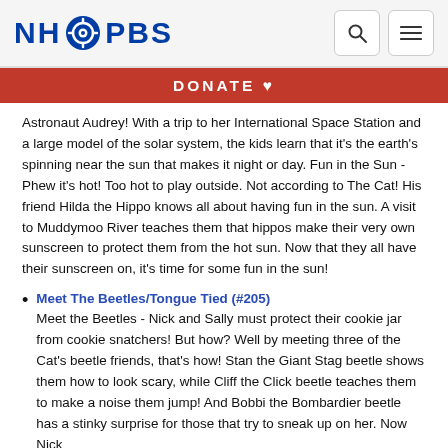NH PBS
DONATE ♥
Astronaut Audrey! With a trip to her International Space Station and a large model of the solar system, the kids learn that it's the earth's spinning near the sun that makes it night or day. Fun in the Sun - Phew it's hot! Too hot to play outside. Not according to The Cat! His friend Hilda the Hippo knows all about having fun in the sun. A visit to Muddymoo River teaches them that hippos make their very own sunscreen to protect them from the hot sun. Now that they all have their sunscreen on, it's time for some fun in the sun!
Meet The Beetles/Tongue Tied (#205) Meet the Beetles - Nick and Sally must protect their cookie jar from cookie snatchers! But how? Well by meeting three of the Cat's beetle friends, that's how! Stan the Giant Stag beetle shows them how to look scary, while Cliff the Click beetle teaches them to make a noise them jump! And Bobbi the Bombardier beetle has a stinky surprise for those that try to sneak up on her. Now Nick